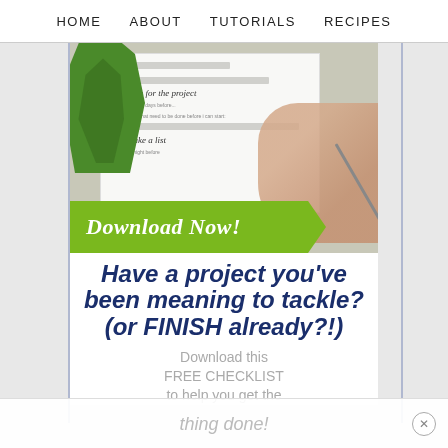HOME   ABOUT   TUTORIALS   RECIPES
[Figure (photo): A hand writing on a checklist/planner printable with a pen, a green plant in the upper left corner, and a green arrow banner saying 'Download Now!']
Have a project you've been meaning to tackle? (or FINISH already?!)
Download this FREE CHECKLIST to help you get the thing done!